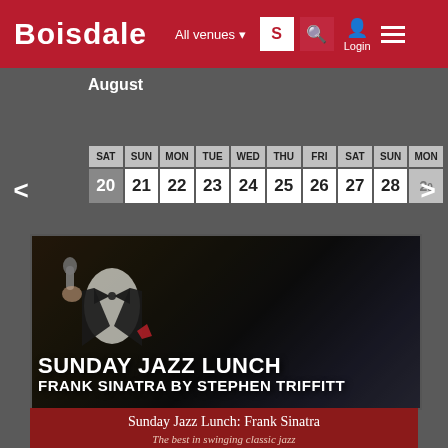BOISDALE | All venues | S | Login
August
| SAT | SUN | MON | TUE | WED | THU | FRI | SAT | SUN | MON |
| --- | --- | --- | --- | --- | --- | --- | --- | --- | --- |
| 20 | 21 | 22 | 23 | 24 | 25 | 26 | 27 | 28 | 29 |
[Figure (photo): Man in tuxedo and bow tie holding microphone, with bold white text overlay reading SUNDAY JAZZ LUNCH and FRANK SINATRA BY STEPHEN TRIFFITT]
Sunday Jazz Lunch: Frank Sinatra
The best in swinging classic jazz
INFO * VIDEO * BUY TICKETS